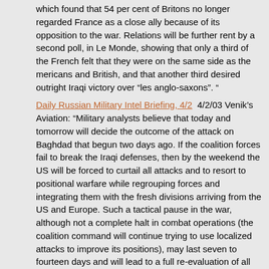which found that 54 per cent of Britons no longer regarded France as a close ally because of its opposition to the war. Relations will be further rent by a second poll, in Le Monde, showing that only a third of the French felt that they were on the same side as the mericans and British, and that another third desired outright Iraqi victory over “les anglo-saxons”. "
Daily Russian Military Intel Briefing, 4/2  4/2/03 Venik’s Aviation: "Military analysts believe that today and tomorrow will decide the outcome of the attack on Baghdad that begun two days ago. If the coalition forces fail to break the Iraqi defenses, then by the weekend the US will be forced to curtail all attacks and to resort to positional warfare while regrouping forces and integrating them with the fresh divisions arriving from the US and Europe. Such a tactical pause in the war, although not a complete halt in combat operations (the coalition command will continue trying to use localized attacks to improve its positions), may last seven to fourteen days and will lead to a full re-evaluation of all coalition battle plans."
Tuesday  4/1/03
Iraq War Boosts Militants' Recruiting  4/1/03 ABC News: "Riding a wave of anti-American sentiment, outlawed Islamic extremist organizations that were routed by the U.S.-led war in